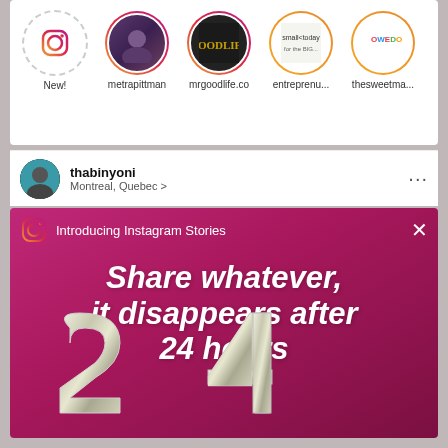[Figure (screenshot): Instagram app screenshot showing stories bar at top with profile circles labeled New!, metrapittman, mrgoodlife.co, entreprenu..., thesweetma... A post by thabinyoni from Montreal, Quebec with three-dot menu. Below is the Instagram Stories introduction promo with gradient purple/pink background showing text 'Share whatever, it disappears after 24 hours' with silver '24' balloon numbers at bottom.]